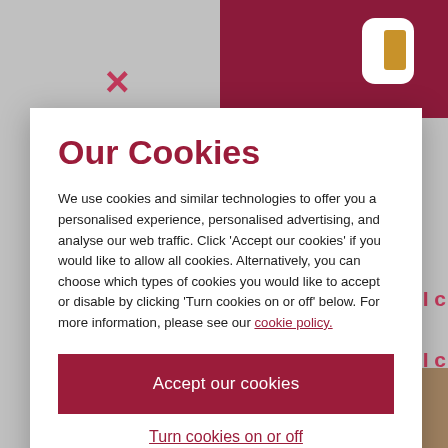[Figure (screenshot): Background webpage with dark red header panel, app icon, X close button, and partial red text on right side and bottom image]
Our Cookies
We use cookies and similar technologies to offer you a personalised experience, personalised advertising, and analyse our web traffic. Click 'Accept our cookies' if you would like to allow all cookies. Alternatively, you can choose which types of cookies you would like to accept or disable by clicking 'Turn cookies on or off' below. For more information, please see our cookie policy.
Accept our cookies
Turn cookies on or off